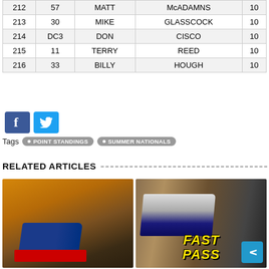| 212 | 57 | MATT | McADAMNS | 10 |
| 213 | 30 | MIKE | GLASSCOCK | 10 |
| 214 | DC3 | DON | CISCO | 10 |
| 215 | 11 | TERRY | REED | 10 |
| 216 | 33 | BILLY | HOUGH | 10 |
[Figure (other): Facebook and Twitter social share buttons]
Tags  • POINT STANDINGS  • SUMMER NATIONALS
RELATED ARTICLES
[Figure (photo): Two racing photos side by side: left shows a blue sprint car on a dirt track at golden hour; right shows a late model race car on track. A 'FAST PASS' text overlay appears in the center-bottom area.]